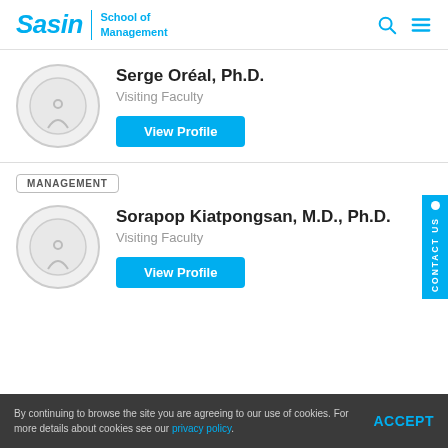Sasin School of Management
Serge Oréal, Ph.D.
Visiting Faculty
View Profile
MANAGEMENT
Sorapop Kiatpongsan, M.D., Ph.D.
Visiting Faculty
View Profile
By continuing to browse the site you are agreeing to our use of cookies. For more details about cookies see our privacy policy.